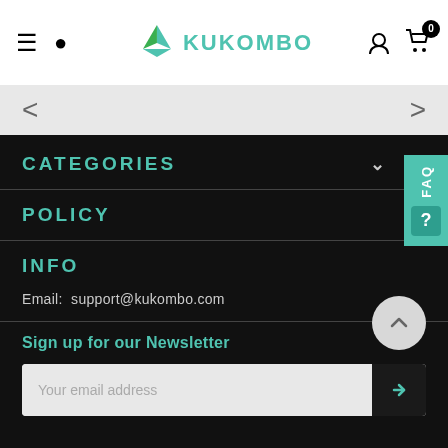Kukombo — navigation header with hamburger menu, search, logo, user icon, and cart (0)
[Figure (screenshot): Slider navigation bar with left and right arrow controls]
CATEGORIES
POLICY
INFO
Email: support@kukombo.com
Sign up for our Newsletter
[Figure (infographic): Email subscription input bar with placeholder 'Your email address' and a submit arrow button]